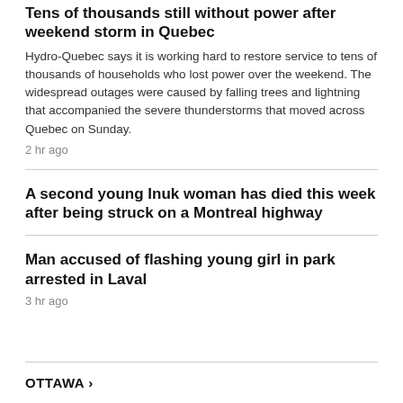Tens of thousands still without power after weekend storm in Quebec
Hydro-Quebec says it is working hard to restore service to tens of thousands of households who lost power over the weekend. The widespread outages were caused by falling trees and lightning that accompanied the severe thunderstorms that moved across Quebec on Sunday.
2 hr ago
A second young Inuk woman has died this week after being struck on a Montreal highway
Man accused of flashing young girl in park arrested in Laval
3 hr ago
OTTAWA >